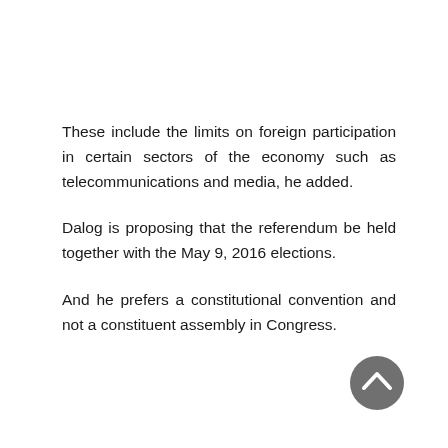These include the limits on foreign participation in certain sectors of the economy such as telecommunications and media, he added.
Dalog is proposing that the referendum be held together with the May 9, 2016 elections.
And he prefers a constitutional convention and not a constituent assembly in Congress.
[Figure (illustration): A circular dark grey button with an upward-pointing chevron/arrow icon, used as a scroll-to-top navigation button.]